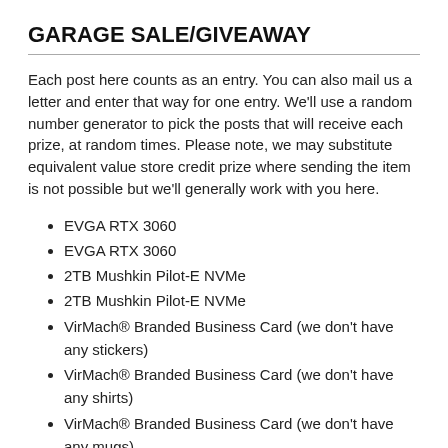GARAGE SALE/GIVEAWAY
Each post here counts as an entry. You can also mail us a letter and enter that way for one entry. We'll use a random number generator to pick the posts that will receive each prize, at random times. Please note, we may substitute equivalent value store credit prize where sending the item is not possible but we'll generally work with you here.
EVGA RTX 3060
EVGA RTX 3060
2TB Mushkin Pilot-E NVMe
2TB Mushkin Pilot-E NVMe
VirMach® Branded Business Card (we don't have any stickers)
VirMach® Branded Business Card (we don't have any shirts)
VirMach® Branded Business Card (we don't have any mugs)
$1000 VirMach Account Credit (for personal use only)
Aiyima Y-A08MX Series Mono Amplifier